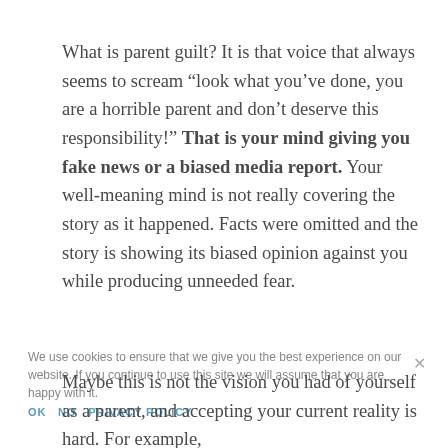What is parent guilt? It is that voice that always seems to scream “look what you’ve done, you are a horrible parent and don’t deserve this responsibility!” That is your mind giving you fake news or a biased media report. Your well-meaning mind is not really covering the story as it happened. Facts were omitted and the story is showing its biased opinion against you while producing unneeded fear.
We use cookies to ensure that we give you the best experience on our website. If you continue to use this site we will assume that you are happy with it.
Maybe this is not the vision you had of yourself as a parent, and accepting your current reality is hard. For example,